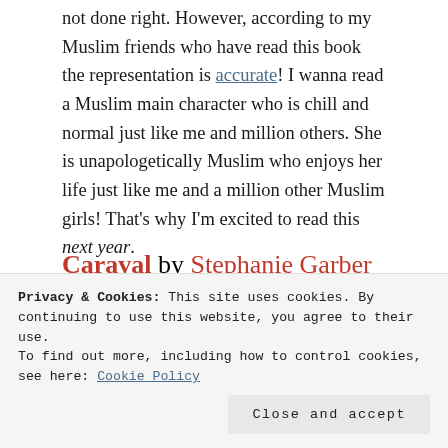not done right. However, according to my Muslim friends who have read this book the representation is accurate! I wanna read a Muslim main character who is chill and normal just like me and million others. She is unapologetically Muslim who enjoys her life just like me and a million other Muslim girls! That's why I'm excited to read this next year.
Caraval by Stephanie Garber
[Figure (photo): Book cover image of Caraval by Stephanie Garber — dark background with red decorative swirling patterns and the word CARAVAL in teal/blue lettering at the bottom]
Privacy & Cookies: This site uses cookies. By continuing to use this website, you agree to their use.
To find out more, including how to control cookies, see here: Cookie Policy
Close and accept